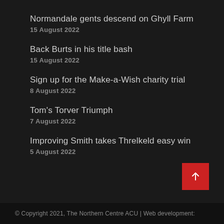Normandale gents descend on Ghyll Farm
15 August 2022
Back Burts in his title bash
15 August 2022
Sign up for the Make-a-Wish charity trial
8 August 2022
Tom's Torver Triumph
7 August 2022
Improving Smith takes Threlkeld easy win
5 August 2022
© Copyright 2021, The Northern Centre ACU | Web development: